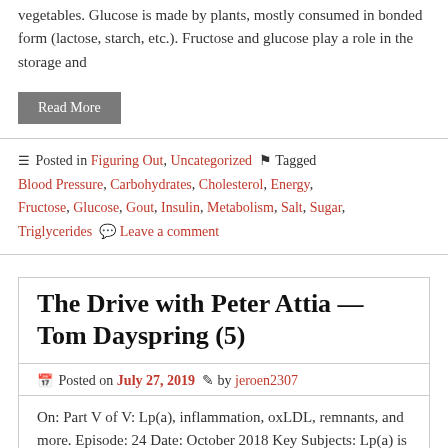vegetables. Glucose is made by plants, mostly consumed in bonded form (lactose, starch, etc.). Fructose and glucose play a role in the storage and
Read More
Posted in Figuring Out, Uncategorized  Tagged Blood Pressure, Carbohydrates, Cholesterol, Energy, Fructose, Glucose, Gout, Insulin, Metabolism, Salt, Sugar, Triglycerides  Leave a comment
The Drive with Peter Attia — Tom Dayspring (5)
Posted on July 27, 2019  by jeroen2307
On: Part V of V: Lp(a), inflammation, oxLDL, remnants, and more. Episode: 24 Date: October 2018 Key Subjects: Lp(a) is a particularly high risk lipoprotein.Genetic.Important to know your Lp(a) mass or particle count.Three factors contributing to